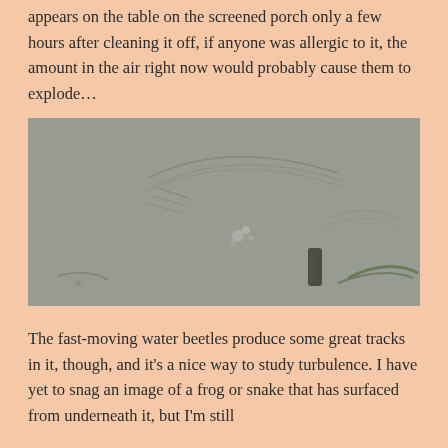appears on the table on the screened porch only a few hours after cleaning it off, if anyone was allergic to it, the amount in the air right now would probably cause them to explode…
[Figure (photo): A close-up photograph of a shallow body of still water with a muddy or silty surface showing ripple patterns and tracks made by water beetles, with some plant material and a small dark cylindrical object visible in the lower right area.]
The fast-moving water beetles produce some great tracks in it, though, and it's a nice way to study turbulence. I have yet to snag an image of a frog or snake that has surfaced from underneath it, but I'm still